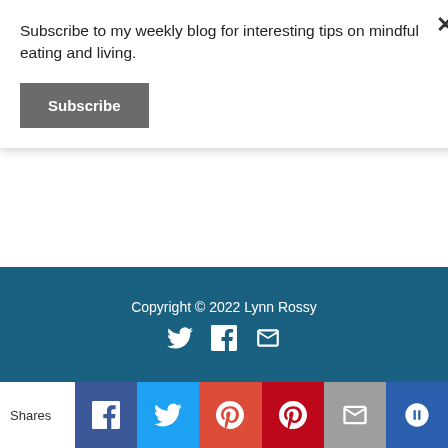Subscribe to my weekly blog for interesting tips on mindful eating and living.
Subscribe
×
Uncategorized (strikethrough)
Workplace Wellness
world mindful eating month
Yoga
Copyright © 2022 Lynn Rossy
Shares